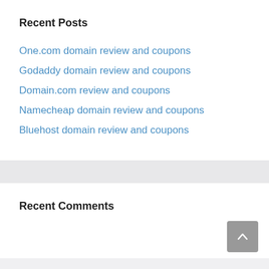Recent Posts
One.com domain review and coupons
Godaddy domain review and coupons
Domain.com review and coupons
Namecheap domain review and coupons
Bluehost domain review and coupons
Recent Comments